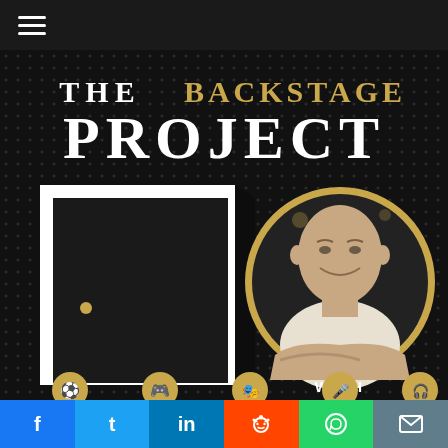☰
[Figure (illustration): The Backstage Project podcast cover art on dark dotted background. Title reads 'THE BACKSTAGE PROJECT' with 'BACKSTAGE' in gold and 'Project' in white serif font. Left side shows an open black door illustration with white frame. Right side shows a circular portrait of Mark Silver (bald man in white shirt, smiling) with gold ring border. Below portrait reads 'WITH MARK SILVER' in white text. Bottom of image shows small golden icons: soccer ball, game controller, theater masks, microphone, headphones.]
f  t  in  reddit  WhatsApp  mail